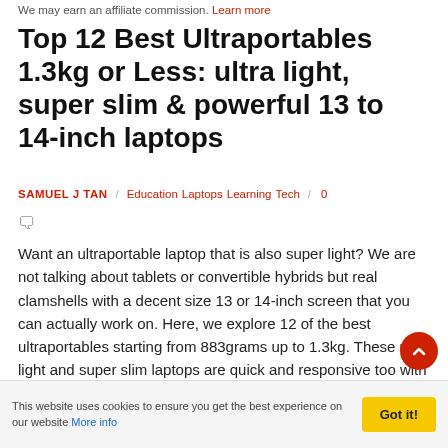We may earn an affiliate commission. Learn more
Top 12 Best Ultraportables 1.3kg or Less: ultra light, super slim & powerful 13 to 14-inch laptops
SAMUEL J TAN / Education Laptops Learning Tech / 0
Want an ultraportable laptop that is also super light? We are not talking about tablets or convertible hybrids but real clamshells with a decent size 13 or 14-inch screen that you can actually work on. Here, we explore 12 of the best ultraportables starting from 883grams up to 1.3kg. These ultra light and super slim laptops are quick and responsive too with plenty
This website uses cookies to ensure you get the best experience on our website More info  Got it!